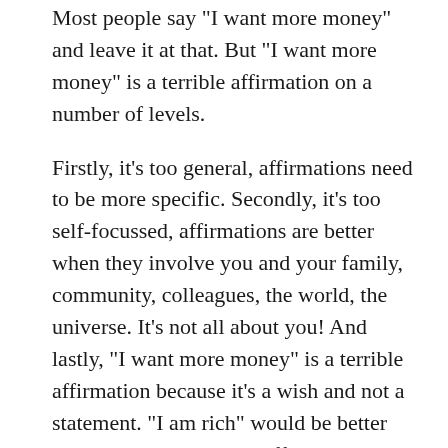Most people say "I want more money" and leave it at that. But "I want more money" is a terrible affirmation on a number of levels.
Firstly, it's too general, affirmations need to be more specific. Secondly, it's too self-focussed, affirmations are better when they involve you and your family, community, colleagues, the world, the universe. It's not all about you! And lastly, "I want more money" is a terrible affirmation because it's a wish and not a statement. "I am rich" would be better but you need to believe affirmations to be true and if you're dirt poor you're never going to believe you're rich!
Remember, affirmations should be super-specific and made in the present tense. You should feel inside as though they are true NOW!